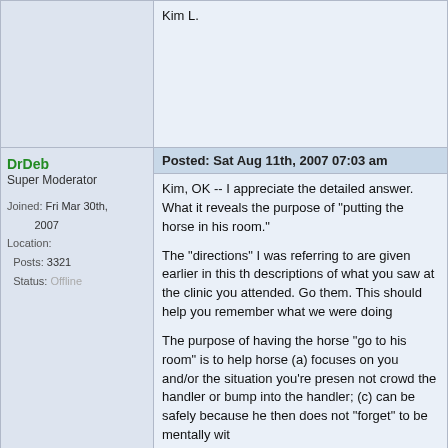Kim L.
DrDeb
Super Moderator
Joined: Fri Mar 30th, 2007
Location:
Posts: 3321
Status: Offline
Posted: Sat Aug 11th, 2007 07:03 am
Kim, OK -- I appreciate the detailed answer. What it reveals the purpose of "putting the horse in his room."

The "directions" I was referring to are given earlier in this th descriptions of what you saw at the clinic you attended. Go them. This should help you remember what we were doing

The purpose of having the horse "go to his room" is to help horse (a) focuses on you and/or the situation you're presen not crowd the handler or bump into the handler; (c) can be safely because he then does not "forget" to be mentally wit

Again, Kim, in your case what I think it would really be best STOP trying to do this stuff. I think that you are too far awa need, instead, is personal or one-on-one instruction.

You can get this by signing up to go ride with Harry Whitney Alberta, or, at least in part by attending any clinic given by l Wolter, or Tom Curtin. Go to the general Internet to find the where on the road you can meet up with them, and then --

This thread will now return to the other students who had p have not yet had lesson three, and this needs to happen, if interested.

Best wishes -- Dr. Deb
Tasha
Member
Posted: Sat Aug 11th, 2007 12:29 pm